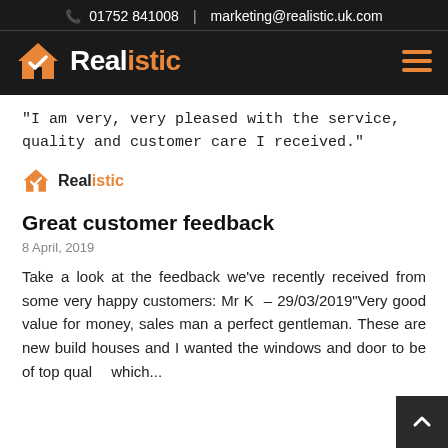01752 841008  |  marketing@realistic.uk.com
[Figure (logo): Realistic logo with orange house/checkmark icon and white text on black background, with hamburger menu icon]
"I am very, very pleased with the service, quality and customer care I received."
[Figure (logo): Realistic small logo with orange house/checkmark icon and dark text]
Great customer feedback
8 April, 2019
Take a look at the feedback we've recently received from some very happy customers: Mr K  – 29/03/2019"Very good value for money, sales man a perfect gentleman. These are new build houses and I wanted the windows and door to be of top qual which...